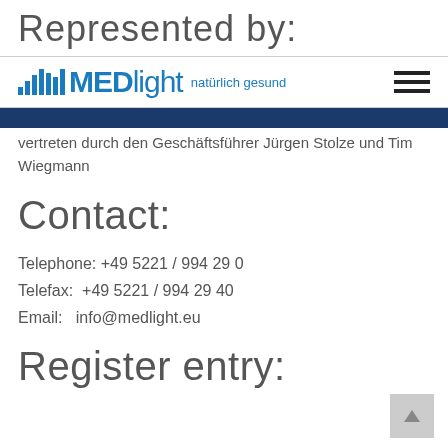Represented by:
[Figure (logo): MEDlight logo with vertical bar icon and slogan 'natürlich gesund', plus hamburger menu icon on the right]
vertreten durch den Geschäftsführer Jürgen Stolze und Tim Wiegmann
Contact:
Telephone: +49 5221 / 994 29 0
Telefax: +49 5221 / 994 29 40
Email: info@medlight.eu
Register entry: